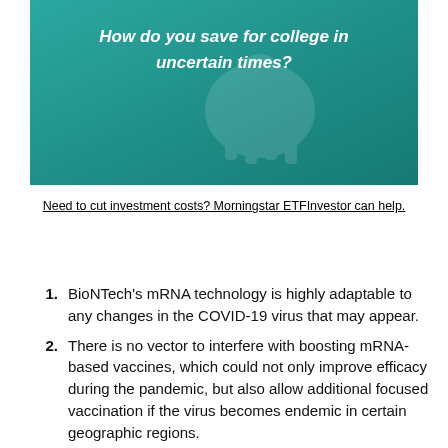[Figure (other): Teal/green banner image with italic bold white text reading 'How do you save for college in uncertain times?' with faint decorative background graphic]
Need to cut investment costs? Morningstar ETFInvestor can help.
BioNTech’s mRNA technology is highly adaptable to any changes in the COVID-19 virus that may appear.
There is no vector to interfere with boosting mRNA-based vaccines, which could not only improve efficacy during the pandemic, but also allow additional focused vaccination if the virus becomes endemic in certain geographic regions.